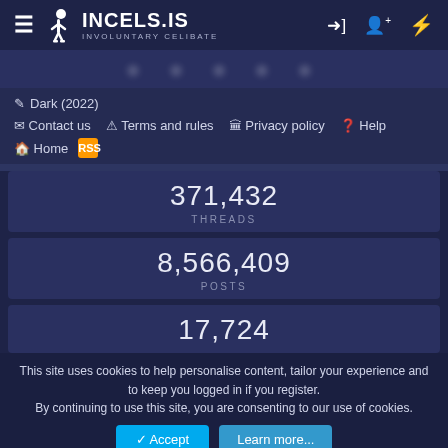INCELS.IS INVOLUNTARY CELIBATE
[Figure (screenshot): Blurred banner/navigation area with circular avatar icons]
Dark (2022)
Contact us  Terms and rules  Privacy policy  Help  Home  RSS
371,432 THREADS
8,566,409 POSTS
17,724
This site uses cookies to help personalise content, tailor your experience and to keep you logged in if you register. By continuing to use this site, you are consenting to our use of cookies.
Accept  Learn more...